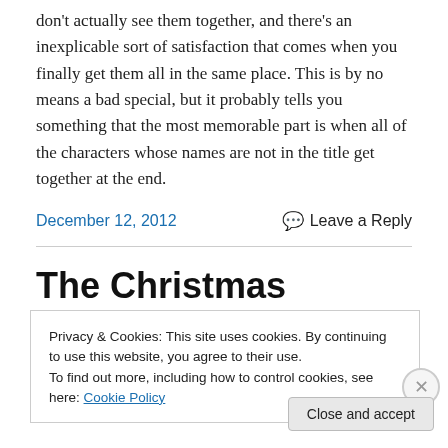don't actually see them together, and there's an inexplicable sort of satisfaction that comes when you finally get them all in the same place. This is by no means a bad special, but it probably tells you something that the most memorable part is when all of the characters whose names are not in the title get together at the end.
December 12, 2012
Leave a Reply
The Christmas Special Day 8:
Privacy & Cookies: This site uses cookies. By continuing to use this website, you agree to their use.
To find out more, including how to control cookies, see here: Cookie Policy
Close and accept